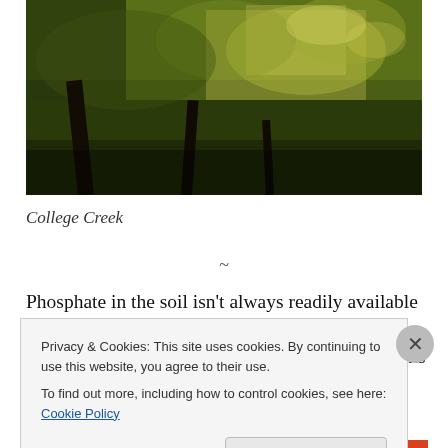[Figure (photo): Photograph of College Creek, showing sunlit trees with green and yellow foliage against a dark wooded background with tree trunks visible]
College Creek
~
Phosphate in the soil isn't always readily available to plant roots.  It must go through further biochemistry to make it available, and this happens best in living soil filled with microorganisms.  It happens best when the soil's pH
Privacy & Cookies: This site uses cookies. By continuing to use this website, you agree to their use.
To find out more, including how to control cookies, see here: Cookie Policy